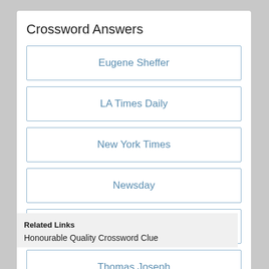Crossword Answers
Eugene Sheffer
LA Times Daily
New York Times
Newsday
The Washington Post
Thomas Joseph
Wall Street Journal
Related Links
Honourable Quality Crossword Clue